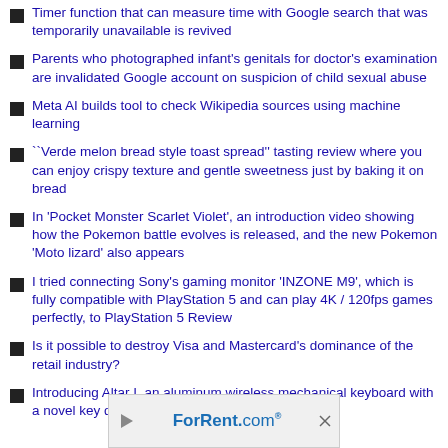Timer function that can measure time with Google search that was temporarily unavailable is revived
Parents who photographed infant's genitals for doctor's examination are invalidated Google account on suspicion of child sexual abuse
Meta AI builds tool to check Wikipedia sources using machine learning
``Verde melon bread style toast spread'' tasting review where you can enjoy crispy texture and gentle sweetness just by baking it on bread
In 'Pocket Monster Scarlet Violet', an introduction video showing how the Pokemon battle evolves is released, and the new Pokemon 'Moto lizard' also appears
I tried connecting Sony's gaming monitor 'INZONE M9', which is fully compatible with PlayStation 5 and can play 4K / 120fps games perfectly, to PlayStation 5 Review
Is it possible to destroy Visa and Mastercard's dominance of the retail industry?
Introducing Altar I, an aluminum wireless mechanical keyboard with a novel key design
[Figure (other): ForRent.com advertisement banner with play and close icons]